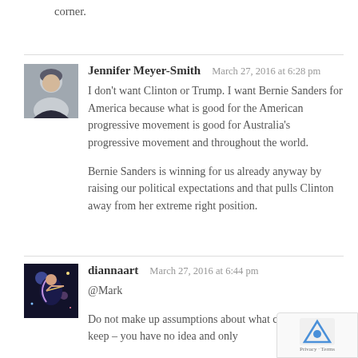corner.
Jennifer Meyer-Smith  March 27, 2016 at 6:28 pm
I don't want Clinton or Trump. I want Bernie Sanders for America because what is good for the American progressive movement is good for Australia's progressive movement and throughout the world.

Bernie Sanders is winning for us already anyway by raising our political expectations and that pulls Clinton away from her extreme right position.
diannaart  March 27, 2016 at 6:44 pm
@Mark

Do not make up assumptions about what company I keep – you have no idea and only